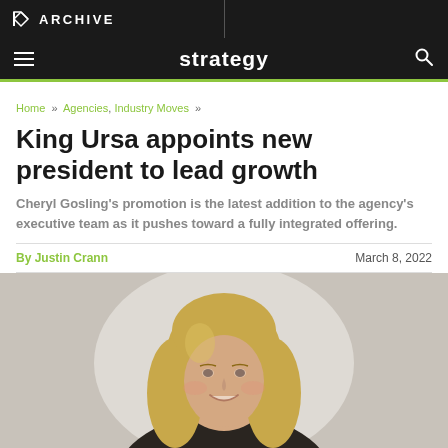M ARCHIVE
strategy
Home » Agencies, Industry Moves »
King Ursa appoints new president to lead growth
Cheryl Gosling's promotion is the latest addition to the agency's executive team as it pushes toward a fully integrated offering.
By Justin Crann   March 8, 2022
[Figure (photo): Photo of Cheryl Gosling, a woman with long blonde hair, smiling, shown from shoulders up against a light background.]